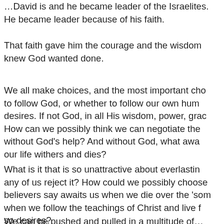…David is and he became leader of the Israelites. He became leader because of his faith.
That faith gave him the courage and the wisdom … knew God wanted done.
We all make choices, and the most important cho… to follow God, or whether to follow our own hum… desires. If not God, in all His wisdom, power, grac… How can we possibly think we can negotiate the … without God's help? And without God, what awa… our life withers and dies?
What is it that is so unattractive about everlastin… any of us reject it? How could we possibly choose… believers say awaits us when we die over the 'som… when we follow the teachings of Christ and live f… so desires?
We can be pushed and pulled in a multitude of…